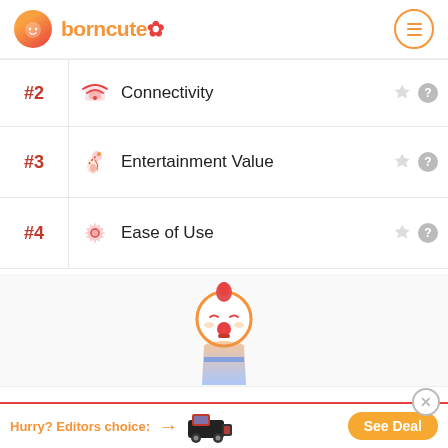borncute
#2 Connectivity
#3 Entertainment Value
#4 Ease of Use
[Figure (illustration): BornCute mascot character — a cute baby/toddler figure with orange hair and a red pacifier]
Hurry? Editors choice: → See Deal